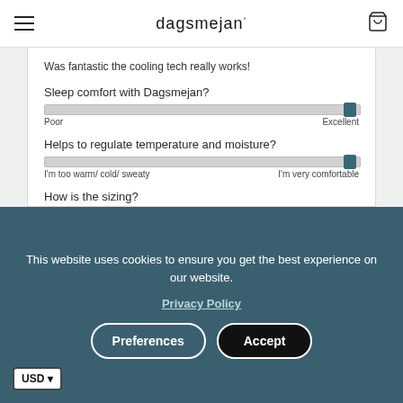dagsmejan°
Was fantastic the cooling tech really works!
Sleep comfort with Dagsmejan?
[Figure (infographic): Slider bar showing sleep comfort rating positioned near Excellent end. Labels: Poor (left), Excellent (right).]
Helps to regulate temperature and moisture?
[Figure (infographic): Slider bar showing temperature/moisture comfort positioned near I'm very comfortable end. Labels: I'm too warm/ cold/ sweaty (left), I'm very comfortable (right).]
How is the sizing?
[Figure (infographic): Slider bar showing sizing positioned at center (True to size). Labels: Runs small (left), True to size (center), Runs large (right).]
This website uses cookies to ensure you get the best experience on our website.
Privacy Policy
Preferences
Accept